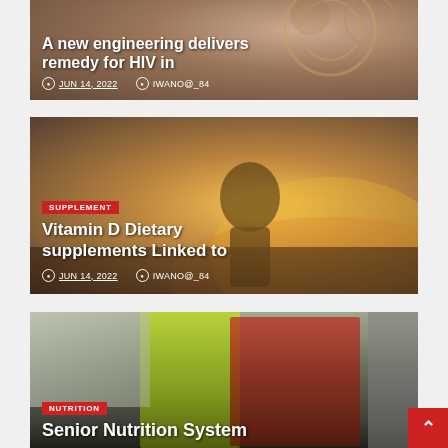[Figure (photo): Close-up of microscopic or biological sample texture in brown/amber tones — background image for HIV article card]
A new engineering delivers remedy for HIV in
JUN 14, 2022   IWANO@_84
[Figure (photo): Elderly woman with curly gray hair sitting outdoors at sunset, silhouetted against warm golden light — background image for Vitamin D article card]
SUPPLEMENT
Vitamin D Dietary supplements Linked to
JUN 14, 2022   IWANO@_84
[Figure (photo): Elderly man wearing red beret and glasses, with younger person in yellow-green shirt beside him — background image for Senior Nutrition article card]
NUTRITION
Senior Nutrition System